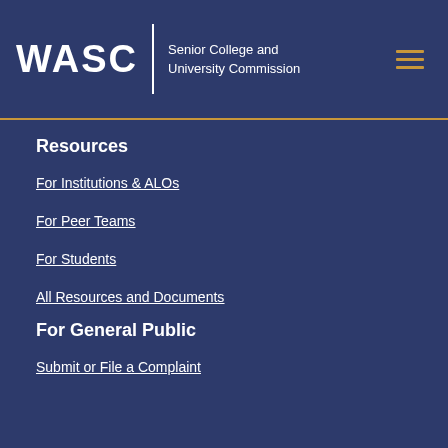WASC Senior College and University Commission
Resources
For Institutions & ALOs
For Peer Teams
For Students
All Resources and Documents
For General Public
Submit or File a Complaint